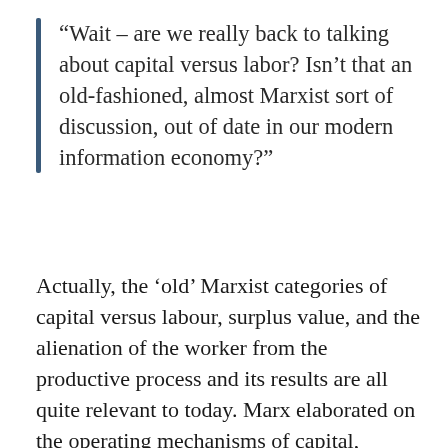“Wait – are we really back to talking about capital versus labor? Isn’t that an old-fashioned, almost Marxist sort of discussion, out of date in our modern information economy?”
Actually, the ‘old’ Marxist categories of capital versus labour, surplus value, and the alienation of the worker from the productive process and its results are all quite relevant to today. Marx elaborated on the operating mechanisms of capital, analysed the laws of motion of capital, the laws of profit maximisation and...